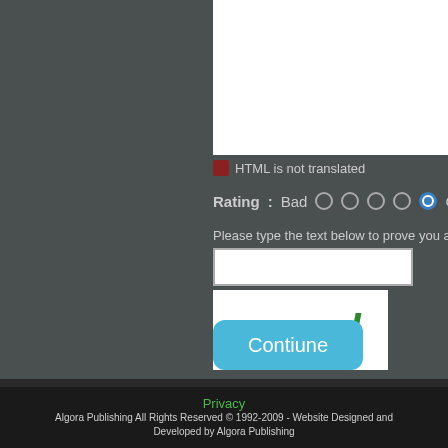[Figure (screenshot): White content box area at top right of dark background]
HTML is not translated
Rating : Bad  O  O  O  O  (selected) Good
Please type the text below to prove you are no
[Figure (screenshot): CAPTCHA text input field and CAPTCHA image showing the word 'scrod' in green italic bold font]
[Figure (screenshot): Blue rounded Continue button with text 'Contiune']
Privacy
Algora Publishing All Rights Reserved © 1992-2009 - Website Designed and Developed by Algora Publishing